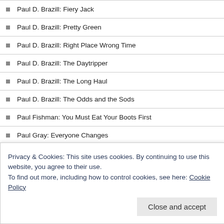Paul D. Brazill: Fiery Jack
Paul D. Brazill: Pretty Green
Paul D. Brazill: Right Place Wrong Time
Paul D. Brazill: The Daytripper
Paul D. Brazill: The Long Haul
Paul D. Brazill: The Odds and the Sods
Paul Fishman: You Must Eat Your Boots First
Paul Gray: Everyone Changes
Paul Gray: Trace Amounts
Paul Greenberg: Mall of Confusion
Paul Heatley: After the Party
Paul Heatley: Lady's Choice
Privacy & Cookies: This site uses cookies. By continuing to use this website, you agree to their use. To find out more, including how to control cookies, see here: Cookie Policy